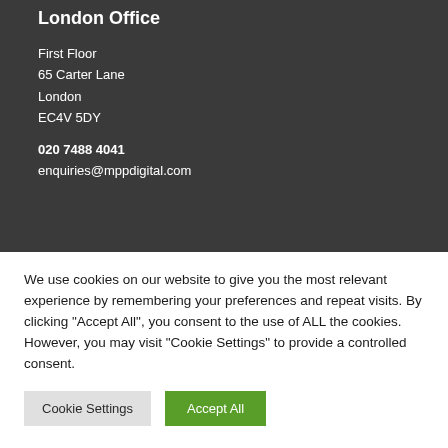London Office
First Floor
65 Carter Lane
London
EC4V 5DY
020 7488 4041
enquiries@mppdigital.com
We use cookies on our website to give you the most relevant experience by remembering your preferences and repeat visits. By clicking "Accept All", you consent to the use of ALL the cookies. However, you may visit "Cookie Settings" to provide a controlled consent.
Cookie Settings | Accept All